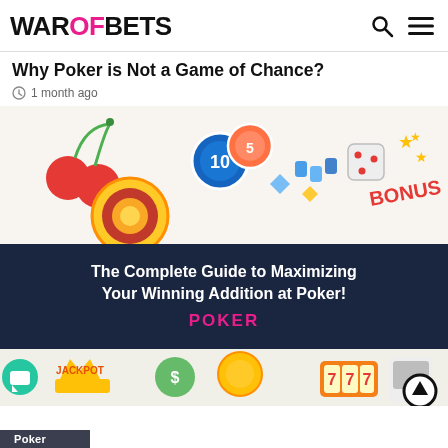WAROFBETS
Why Poker is Not a Game of Chance?
1 month ago
[Figure (illustration): Casino themed illustration with cherries, poker chips, roulette wheel, dice, bonus text, jackpot text, playing cards, slot machine, and game coins. Dark navy banner overlay reading 'The Complete Guide to Maximizing Your Winning Addition at Poker!' with 'POKER' in pink below. Bottom strip shows jackpot coins and 777 slot icons. Chat and up-arrow buttons visible.]
Poker